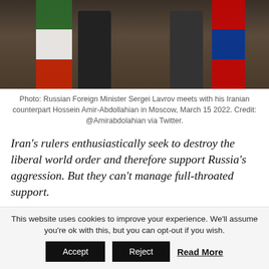[Figure (photo): Two figures standing in front of flags — Iranian flag on left, Russian flag on right — in an ornate interior room]
Photo: Russian Foreign Minister Sergei Lavrov meets with his Iranian counterpart Hossein Amir-Abdollahian in Moscow, March 15 2022. Credit: @Amirabdolahian via Twitter.
Iran's rulers enthusiastically seek to destroy the liberal world order and therefore support Russia's aggression. But they can't manage full-throated support.
For Iran, the invasion of Ukraine is closely related to the very essence of the present world order. Much like Russia, Iran has been voicing its discontent at the way the international system has operated since the end
This website uses cookies to improve your experience. We'll assume you're ok with this, but you can opt-out if you wish.